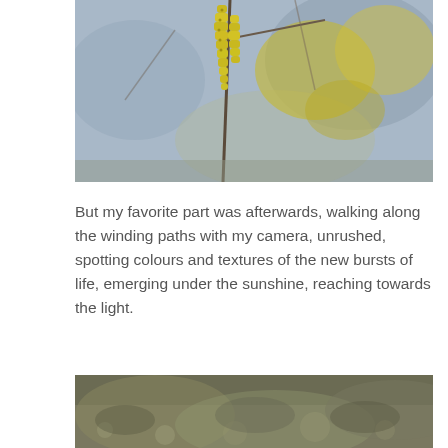[Figure (photo): Close-up photograph of yellow hanging catkin flowers on a branch with a blurred grey-blue background and more yellow flowers visible in the distance.]
But my favorite part was afterwards, walking along the winding paths with my camera, unrushed, spotting colours and textures of the new bursts of life, emerging under the sunshine, reaching towards the light.
[Figure (photo): Partial photograph showing a blurred green and brown outdoor landscape scene, cropped at the bottom of the page.]